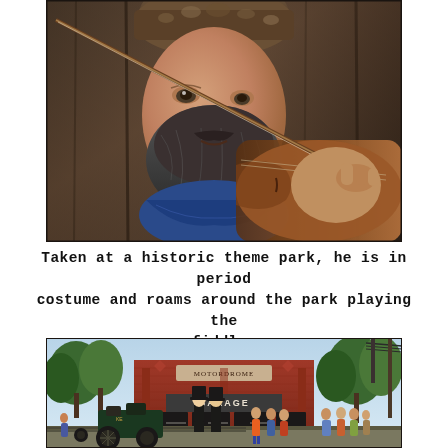[Figure (photo): Close-up portrait of a bearded man wearing a fur hat, playing a fiddle/violin. He is in period costume. Background shows weathered wood. Shallow depth of field with the violin bow and instrument in foreground.]
Taken at a historic theme park, he is in period costume and roams around the park playing the fiddle.
[Figure (photo): Outdoor scene at a historic theme park. A brick building with a sign reading 'Motordrome' and 'Garage' is in the background. Period-dressed figures in top hats stand near an antique vehicle on tracks. Various visitors/spectators are visible in the foreground and background. Trees and telephone poles visible.]